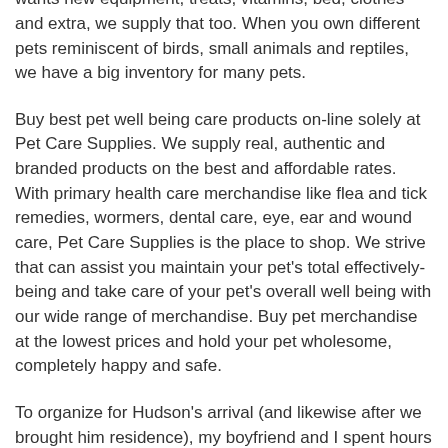specials. Your pet deserves the best, that's why we supply the best quality pet meals and treats. If your pet wants new equipment, treats, vitamins, bed, clothes and extra, we supply that too. When you own different pets reminiscent of birds, small animals and reptiles, we have a big inventory for many pets.
Buy best pet well being care products on-line solely at Pet Care Supplies. We supply real, authentic and branded products on the best and affordable rates. With primary health care merchandise like flea and tick remedies, wormers, dental care, eye, ear and wound care, Pet Care Supplies is the place to shop. We strive that can assist you maintain your pet's total effectively-being and take care of your pet's overall well being with our wide range of merchandise. Buy pet merchandise at the lowest prices and hold your pet wholesome, completely happy and safe.
To organize for Hudson's arrival (and likewise after we brought him residence), my boyfriend and I spent hours sifting through hundreds of puppy products on-line. Everyone who noticed it collectively and instantly fell in love and agreed that each fluffy canine ought to get carried around in a little backpack like that from now till the end of time. If you happen to agree, we found it for you.